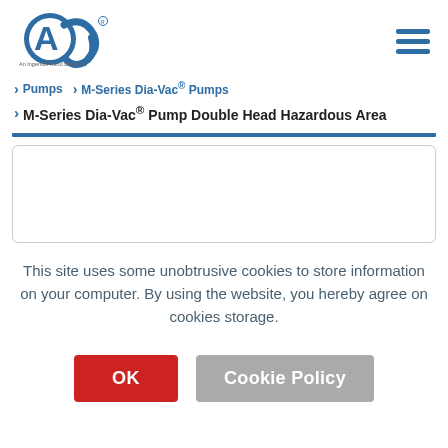[Figure (logo): ADJ / ACS logo with 'An Ingersoll Rand Business' tagline and hamburger menu icon]
> Pumps  > M-Series Dia-Vac® Pumps
> M-Series Dia-Vac® Pump Double Head Hazardous Area
[Figure (other): Empty product card / image placeholder with rounded border]
This site uses some unobtrusive cookies to store information on your computer. By using the website, you hereby agree on cookies storage.
OK  Cookie Policy